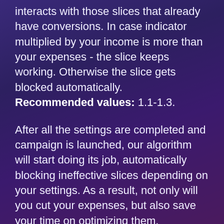interacts with those slices that already have conversions. In case indicator multiplied by your income is more than your expenses - the slice keeps working. Otherwise the slice gets blocked automatically. Recommended values: 1.1-1.3.
After all the settings are completed and campaign is launched, our algorithm will start doing its job, automatically blocking ineffective slices depending on your settings. As a result, not only will you cut your expenses, but also save your time on optimizing them.